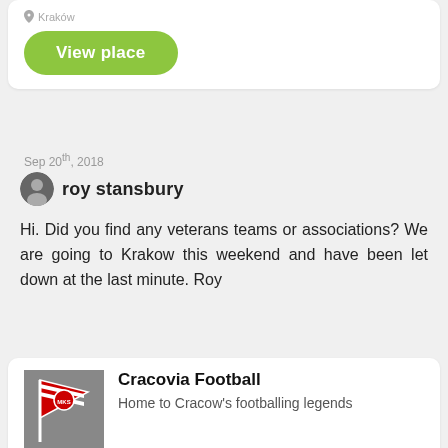[Figure (screenshot): Partial card showing location pin icon with 'Kraków' text and a green 'View place' button]
Sep 20th, 2018
roy stansbury
Hi. Did you find any veterans teams or associations? We are going to Krakow this weekend and have been let down at the last minute. Roy
[Figure (photo): Cracovia Football club badge/flag image in grayscale]
Cracovia Football
Home to Cracow's footballing legends